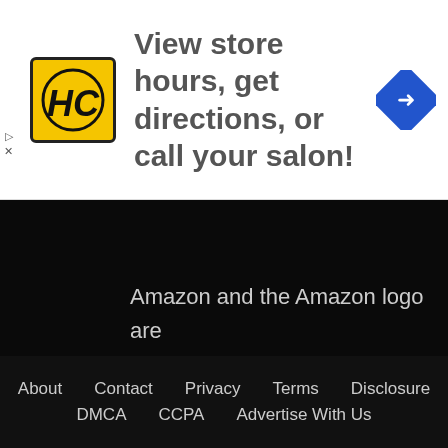[Figure (logo): HC logo in yellow square with black border, and a blue diamond navigation icon on the right]
View store hours, get directions, or call your salon!
Amazon and the Amazon logo are trademarks of Amazon.com, Inc. or its affiliates.
.con
About   Contact   Privacy   Terms   Disclosure   DMCA   CCPA   Advertise With Us